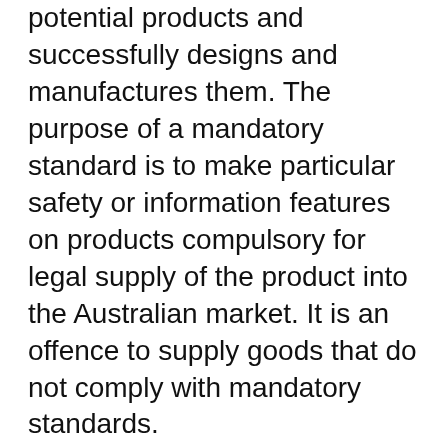potential products and successfully designs and manufactures them. The purpose of a mandatory standard is to make particular safety or information features on products compulsory for legal supply of the product into the Australian market. It is an offence to supply goods that do not comply with mandatory standards.
Design is a creative process which integrates the physical qualities of a product with aesthetic considerations. Design is both the result as end product and the process which creates Product design is about having a well developed understanding of the what the product is trying to solve, who the user of the